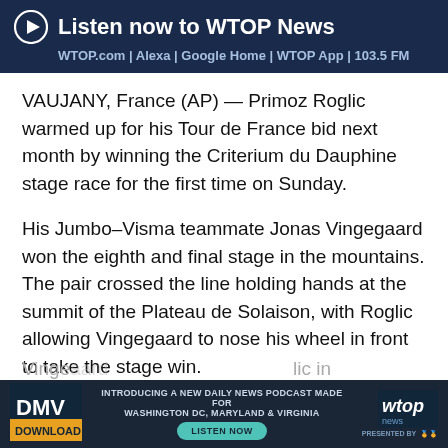Listen now to WTOP News — WTOP.com | Alexa | Google Home | WTOP App | 103.5 FM
VAUJANY, France (AP) — Primoz Roglic warmed up for his Tour de France bid next month by winning the Criterium du Dauphine stage race for the first time on Sunday.
His Jumbo–Visma teammate Jonas Vingegaard won the eighth and final stage in the mountains. The pair crossed the line holding hands at the summit of the Plateau de Solaison, with Roglic allowing Vingegaard to nose his wheel in front to take the stage win.
[Figure (screenshot): DMV Download podcast advertisement banner with WTOP News logo, text reading 'Introducing a new daily news podcast made for Washington DC, Maryland & Virginia', and a teal 'Listen Now' button]
Vinge... lic in